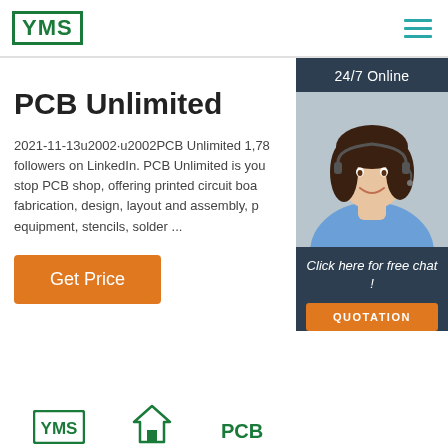[Figure (logo): YMS logo in green border box, top left header]
[Figure (illustration): Hamburger menu icon in teal, top right header]
PCB Unlimited
2021-11-13u2002·u2002PCB Unlimited 1,78 followers on LinkedIn. PCB Unlimited is your stop PCB shop, offering printed circuit board fabrication, design, layout and assembly, p… equipment, stencils, solder ...
[Figure (illustration): 24/7 Online chat widget with agent photo, dark slate background, orange QUOTATION button]
[Figure (illustration): Get Price orange button]
[Figure (logo): Bottom row: YMS logo, house/home icon, PCB text logo]